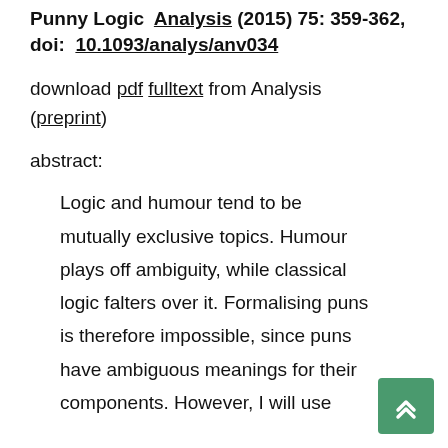Punny Logic  Analysis (2015) 75: 359-362, doi: 10.1093/analys/anv034
download pdf fulltext from Analysis (preprint)
abstract:
Logic and humour tend to be mutually exclusive topics. Humour plays off ambiguity, while classical logic falters over it. Formalising puns is therefore impossible, since puns have ambiguous meanings for their components. However, I will use